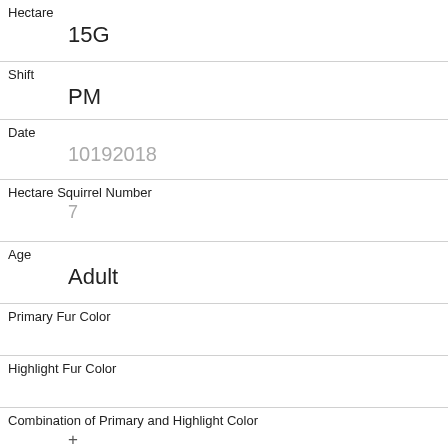Hectare
15G
Shift
PM
Date
10192018
Hectare Squirrel Number
7
Age
Adult
Primary Fur Color
Highlight Fur Color
Combination of Primary and Highlight Color
+
Color notes
Location
Above Ground
Above Ground Sighter Measurement